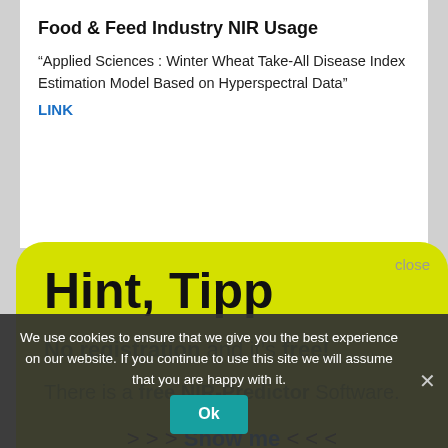Food & Feed Industry NIR Usage
“Applied Sciences : Winter Wheat Take-All Disease Index Estimation Model Based on Hyperspectral Data”
LINK
[Figure (screenshot): Yellow rounded tooltip/modal box with title 'Hint, Tipp', text 'No registration and it’s free!', 'There is a free NIR-Predictor Software.', '>>> Show me <<<', and a 'close' button in top right.]
We use cookies to ensure that we give you the best experience on our website. If you continue to use this site we will assume that you are happy with it.
“Fiber and digestibility of Piata grass in systems in integration.” LINK
“Detection of syrup adulteration in manuka and jarrah honey using HPTLC-multivariate data analysis” | LINK